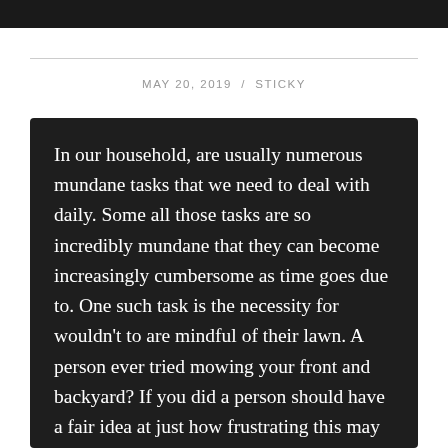MAY 20, 2019 / STICKY
In our household, are usually numerous mundane tasks that we need to deal with daily. Some all those tasks are so incredibly mundane that they can become increasingly cumbersome as time goes due to. One such task is the necessity for wouldn't to are mindful of their lawn. A person ever tried mowing your front and backyard? If you did a person should have a fair idea at just how frustrating this may be. Wouldn't it be nice a person are could get rid all different kinds of maintenance jobs for your yard grass? Of course it